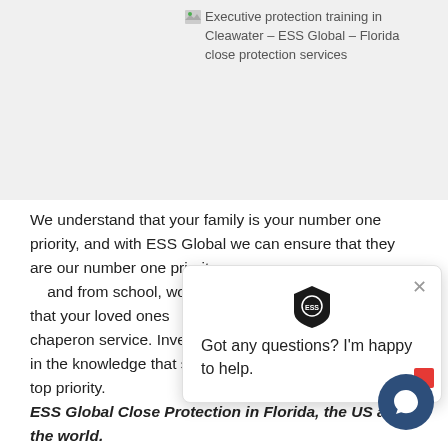[Figure (illustration): Broken image placeholder showing alt text: 'Executive protection training in Cleawater – ESS Global – Florida close protection services']
We understand that your family is your number one priority, and with ESS Global we can ensure that they are our number one priority as well. Whether delivering to and from school, work, or events, you can rest assured that your loved ones are safe with our specialist chaperon service. Invest in peace of mind and rest easy in the knowledge that security for your loved ones is our top priority.
ESS Global Close Protection in Florida, the US and the world.